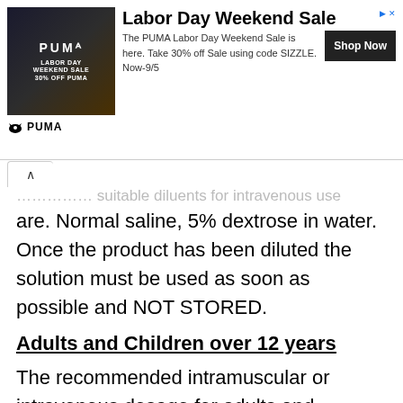[Figure (other): PUMA Labor Day Weekend Sale advertisement banner with athlete image, logo, text and Shop Now button]
are. Normal saline, 5% dextrose in water. Once the product has been diluted the solution must be used as soon as possible and NOT STORED.
Adults and Children over 12 years
The recommended intramuscular or intravenous dosage for adults and adolescents with normal renal function (creatinine clearance >50 ml/min) is 15 mg/kg/day which may be administered as a single daily dose or divided into 2 equal doses i.e. 7.5 mg/kg q 12 h. The total daily dose should not exceed 1.5 g. In endocarditis and in febrile neutropenic patients, dosing should be twice daily,